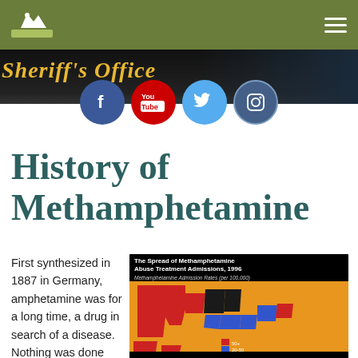Sheriff's Office — navigation header with logo and hamburger menu
[Figure (screenshot): Sheriff's Office banner with italic gold text on dark background]
[Figure (infographic): Four social media circles: Facebook (blue), YouTube (red), Twitter (light blue), Instagram (dark blue)]
History of Methamphetamine
First synthesized in 1887 in Germany, amphetamine was for a long time, a drug in search of a disease. Nothing was done with the drug, from its discovery
[Figure (map): The Spread of Methamphetamine Abuse Treatment Admissions, 1996. Methamphetamine Admission Rates (per 100,000). US map with states colored red (50+), blue (20-50), orange (lower rates), and black (no data). Western states show heaviest concentrations.]